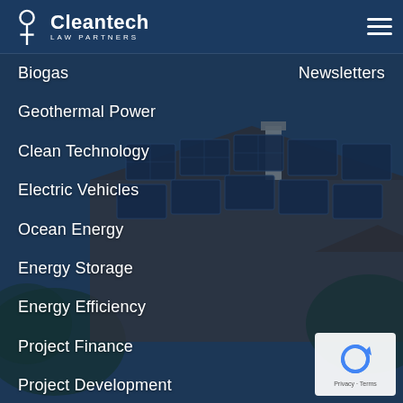[Figure (screenshot): Cleantech Law Partners website navigation menu screenshot showing logo header and list of practice area links over a solar panels background image]
Cleantech Law Partners
Biogas
Newsletters
Geothermal Power
Clean Technology
Electric Vehicles
Ocean Energy
Energy Storage
Energy Efficiency
Project Finance
Project Development
Emerging Markets
Corporate and Securities
Governmental Affairs